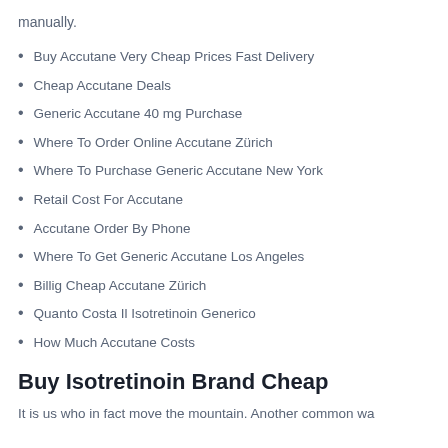manually.
Buy Accutane Very Cheap Prices Fast Delivery
Cheap Accutane Deals
Generic Accutane 40 mg Purchase
Where To Order Online Accutane Zürich
Where To Purchase Generic Accutane New York
Retail Cost For Accutane
Accutane Order By Phone
Where To Get Generic Accutane Los Angeles
Billig Cheap Accutane Zürich
Quanto Costa Il Isotretinoin Generico
How Much Accutane Costs
Buy Isotretinoin Brand Cheap
It is us who in fact move the mountain. Another common wa